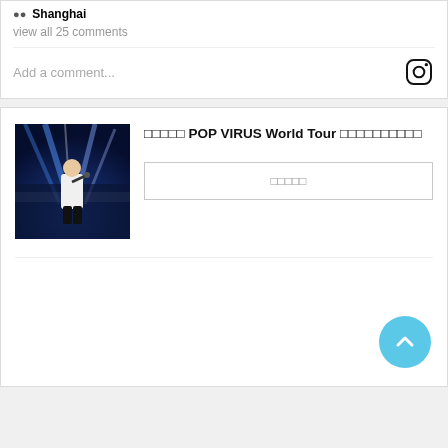🏠 Shanghai
view all 25 comments
Add a comment...
[Figure (screenshot): Instagram comment input bar with Instagram logo icon on the right]
[Figure (photo): Concert photo of a singer in white shirt performing on stage with blue stage lighting]
□□□□□ POP VIRUS World Tour □□□□□□□□□
□□□□□